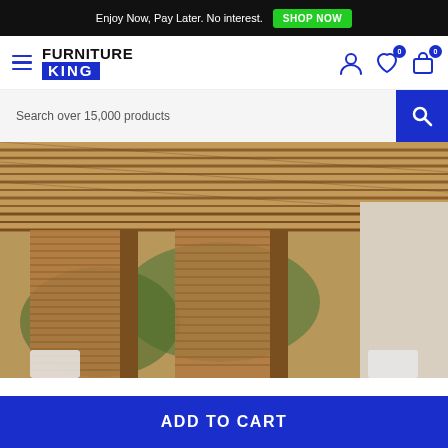Enjoy Now, Pay Later. No interest. SHOP NOW
[Figure (logo): Furniture King logo with hamburger menu and nav icons (user, wishlist with 0 badge, cart with 0 badge)]
Search over 15,000 products
[Figure (photo): Outdoor pergola with wooden slatted roof and hanging bamboo/woven reed curtain panels, warm brown tones, tropical setting]
ADD TO CART